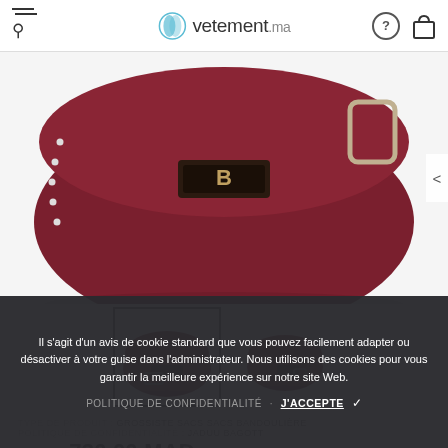vetement.ma — navigation header with hamburger menu, search, logo, help and bag icons
[Figure (photo): Close-up of a dark burgundy/maroon leather crossbody handbag with silver studs and a silver 'B' logo clasp on a white background]
[Figure (photo): Thumbnail row: two views of a dark burgundy leather crossbody bag — first thumbnail selected with border, second unselected]
Il s'agit d'un avis de cookie standard que vous pouvez facilement adapter ou désactiver à votre guise dans l'administrateur. Nous utilisons des cookies pour vous garantir la meilleure expérience sur notre site Web.
POLITIQUE DE CONFIDENTIALITÉ   J'ACCEPTE ✓
TYPE DE PRODUIT : Grossiste Sacs Sacs bandoulière
POLITIQUE DE CONFIDENTIALITÉ : Jaduu Bagott
730.00 MAD